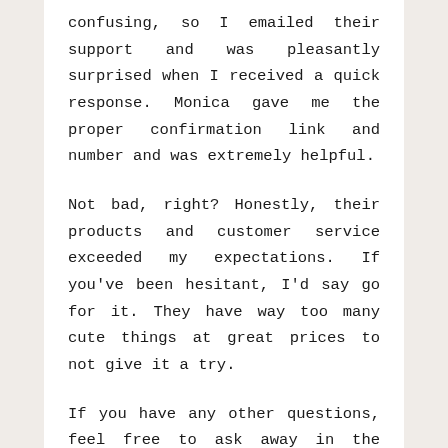confusing, so I emailed their support and was pleasantly surprised when I received a quick response. Monica gave me the proper confirmation link and number and was extremely helpful.
Not bad, right? Honestly, their products and customer service exceeded my expectations. If you've been hesitant, I'd say go for it. They have way too many cute things at great prices to not give it a try.
If you have any other questions, feel free to ask away in the comments. Also, if you've ordered from them before, I'd love to hear about your experience!